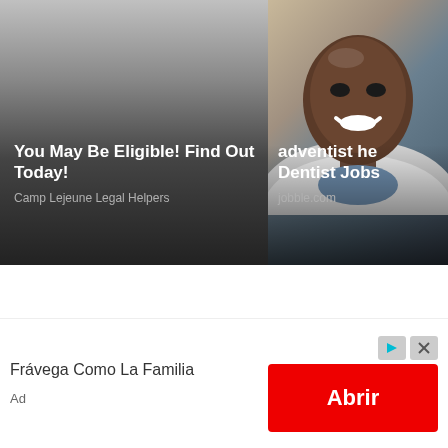[Figure (photo): Ad card with dark gradient overlay. Text: 'You May Be Eligible! Find Out Today!' Source: Camp Lejeune Legal Helpers]
[Figure (photo): Ad card showing smiling doctor/dentist in white coat against neutral background. Text: 'adventist he... Dentist Jobs' Source: jobble.com]
Frávega Como La Familia
Ad
Abrir